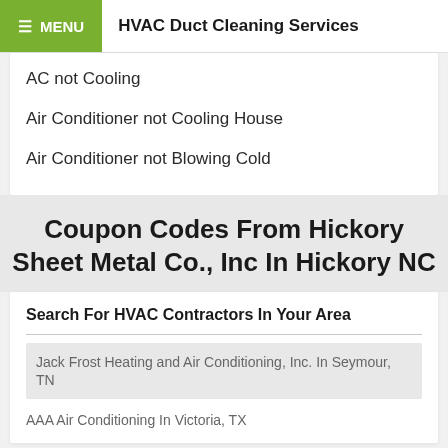HVAC Duct Cleaning Services
AC not Cooling
Air Conditioner not Cooling House
Air Conditioner not Blowing Cold
Coupon Codes From Hickory Sheet Metal Co., Inc In Hickory NC
Search For HVAC Contractors In Your Area
Jack Frost Heating and Air Conditioning, Inc. In Seymour, TN
AAA Air Conditioning In Victoria, TX